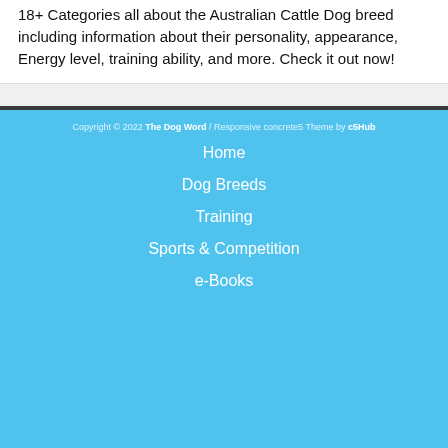18+ Categories all about the Australian Cattle Dog breed including information about their personality, appearance, Energy level, training ability, and more. Check it out now!
Copyright © 2022 The Dog Word / Responsive concrete5 Theme by c5Hub
Home
Dog Breeds
Training
Sports & Competition
e-Books